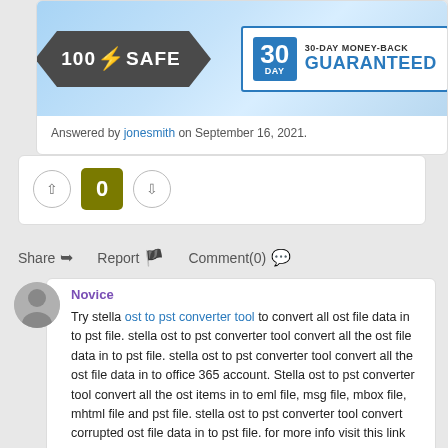[Figure (illustration): Banner showing '100% SAFE' badge with dark arrow shape and orange lightning bolt, plus '30 DAY 30-DAY MONEY-BACK GUARANTEED' box with blue border]
Answered by jonesmith on September 16, 2021.
0
Share  Report  Comment(0)
Novice
Try stella ost to pst converter tool to convert all ost file data in to pst file. stella ost to pst converter tool convert all the ost file data in to pst file. stella ost to pst converter tool convert all the ost file data in to office 365 account. Stella ost to pst converter tool convert all the ost items in to eml file, msg file, mbox file, mhtml file and pst file. stella ost to pst converter tool convert corrupted ost file data in to pst file. for more info visit this link https://www.stelladatarecovery.com/ost-to-pst-recovery.html